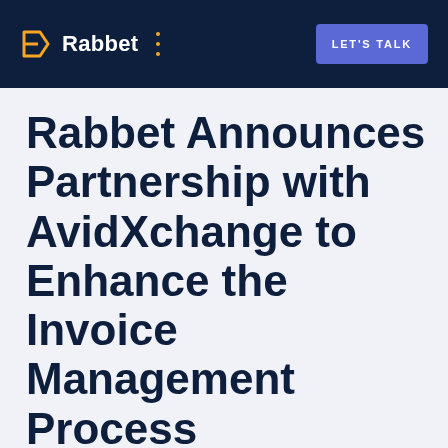Rabbet | LET'S TALK
Rabbet Announces Partnership with AvidXchange to Enhance the Invoice Management Process